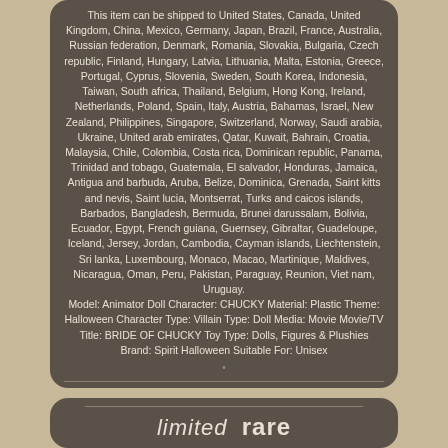This item can be shipped to United States, Canada, United Kingdom, China, Mexico, Germany, Japan, Brazil, France, Australia, Russian federation, Denmark, Romania, Slovakia, Bulgaria, Czech republic, Finland, Hungary, Latvia, Lithuania, Malta, Estonia, Greece, Portugal, Cyprus, Slovenia, Sweden, South Korea, Indonesia, Taiwan, South africa, Thailand, Belgium, Hong Kong, Ireland, Netherlands, Poland, Spain, Italy, Austria, Bahamas, Israel, New Zealand, Philippines, Singapore, Switzerland, Norway, Saudi arabia, Ukraine, United arab emirates, Qatar, Kuwait, Bahrain, Croatia, Malaysia, Chile, Colombia, Costa rica, Dominican republic, Panama, Trinidad and tobago, Guatemala, El salvador, Honduras, Jamaica, Antigua and barbuda, Aruba, Belize, Dominica, Grenada, Saint kitts and nevis, Saint lucia, Montserrat, Turks and caicos islands, Barbados, Bangladesh, Bermuda, Brunei darussalam, Bolivia, Ecuador, Egypt, French guiana, Guernsey, Gibraltar, Guadeloupe, Iceland, Jersey, Jordan, Cambodia, Cayman islands, Liechtenstein, Sri lanka, Luxembourg, Monaco, Macao, Martinique, Maldives, Nicaragua, Oman, Peru, Pakistan, Paraguay, Reunion, Viet nam, Uruguay. Model: Animator Doll Character: CHUCKY Material: Plastic Theme: Halloween Character Type: Villain Type: Doll Media: Movie Movie/TV Title: BRIDE OF CHUCKY Toy Type: Dolls, Figures & Plushies Brand: Spirit Halloween Suitable For: Unisex
limited  rare